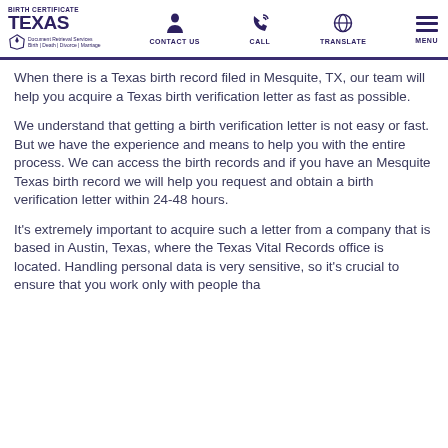Birth Certificate Texas — CONTACT US | CALL | TRANSLATE | MENU
When there is a Texas birth record filed in Mesquite, TX, our team will help you acquire a Texas birth verification letter as fast as possible.
We understand that getting a birth verification letter is not easy or fast. But we have the experience and means to help you with the entire process. We can access the birth records and if you have an Mesquite Texas birth record we will help you request and obtain a birth verification letter within 24-48 hours.
It's extremely important to acquire such a letter from a company that is based in Austin, Texas, where the Texas Vital Records office is located. Handling personal data is very sensitive, so it's crucial to ensure that you work only with people tha…